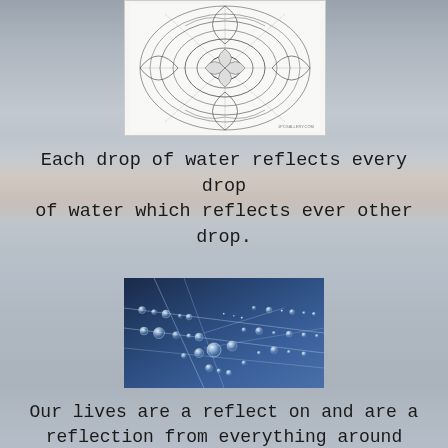[Figure (illustration): A detailed mandala pattern drawing with intricate geometric and floral designs, black and white line art on white background, partially visible (bottom half cut off at top of page).]
Each drop of water reflects every drop of water which reflects ever other drop.
[Figure (photo): Close-up photograph of water droplets on a spider web against a blue background. The droplets are arranged along the silk threads creating a geometric pattern. Light reflects off each drop.]
Our lives are a reflect on and are a reflection from everything around